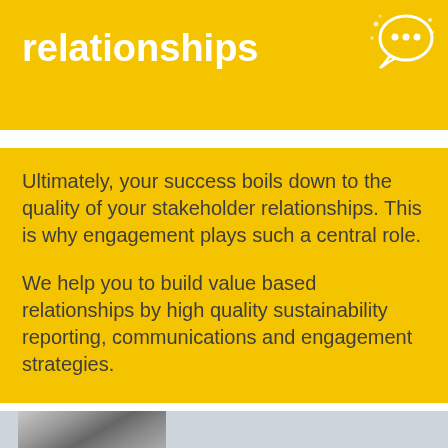relationships
Ultimately, your success boils down to the quality of your stakeholder relationships. This is why engagement plays such a central role.
We help you to build value based relationships by high quality sustainability reporting, communications and engagement strategies.
more >>
[Figure (photo): Partial black and white photo of a person visible at bottom of page]